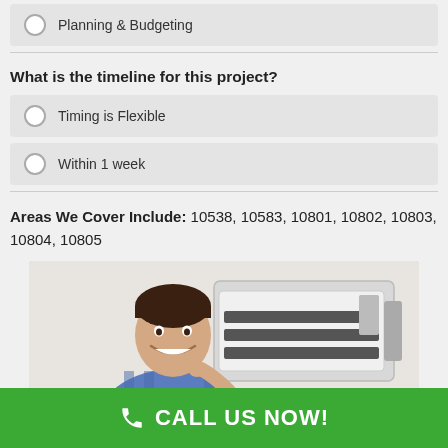Planning & Budgeting
What is the timeline for this project?
Timing is Flexible
Within 1 week
Areas We Cover Include: 10538, 10583, 10801, 10802, 10803, 10804, 10805
[Figure (photo): Technician smiling next to a wall-mounted air conditioning unit with the front panel open]
CALL US NOW!